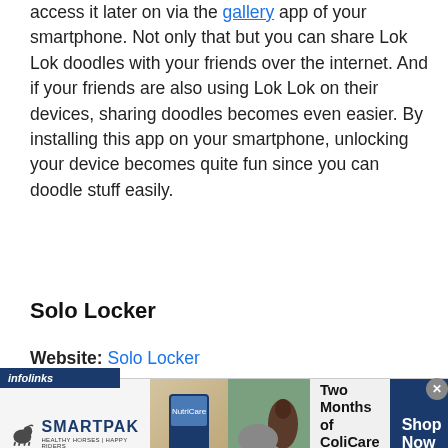access it later on via the gallery app of your smartphone. Not only that but you can share Lok Lok doodles with your friends over the internet. And if your friends are also using Lok Lok on their devices, sharing doodles becomes even easier. By installing this app on your smartphone, unlocking your device becomes quite fun since you can doodle stuff easily.
Solo Locker
Website: Solo Locker
[Figure (other): SmartPak advertisement banner: 50% Off Two Months of ColiCare, ColiCare Eligible Supplements, CODE: COLICARE10. Shop Now button. Infolinks label visible.]